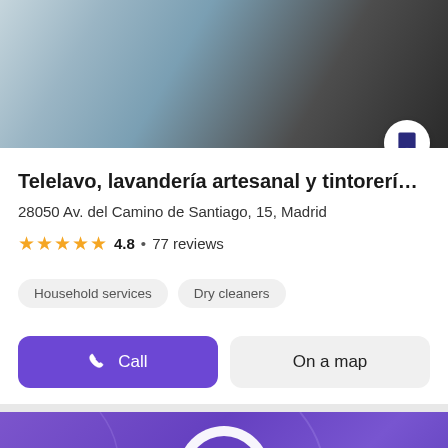[Figure (photo): Interior photo of a laundry/dry cleaning shop with machines and equipment]
Telelavo, lavandería artesanal y tintorería ecol…
28050 Av. del Camino de Santiago, 15, Madrid
★★★★★ 4.8 • 77 reviews
Household services  Dry cleaners
Call  On a map
[Figure (screenshot): Purple map background with a 3D location pin marker in the center]